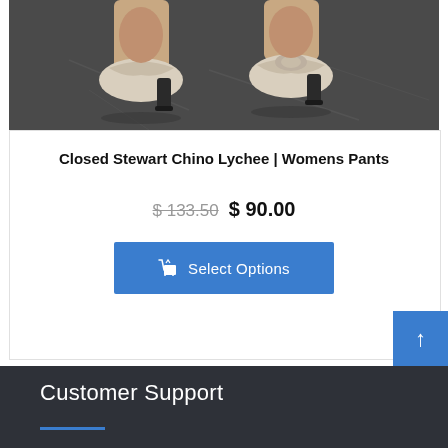[Figure (photo): Close-up photo of feet wearing beige/cream heeled mule sandals on a dark gray marble floor surface]
Closed Stewart Chino Lychee | Womens Pants
$ 133.50  $ 90.00
Select Options
Customer Support
Customer Support